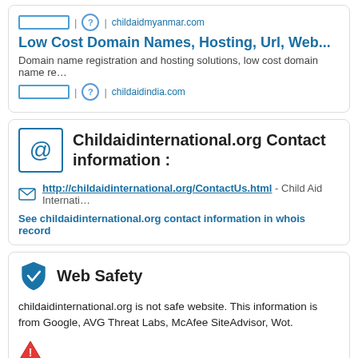childaidmyanmar.com
Low Cost Domain Names, Hosting, Url, Web...
Domain name registration and hosting solutions, low cost domain name re…
childaidindia.com
Childaidinternational.org Contact information :
http://childaidinternational.org/ContactUs.html - Child Aid Internati…
See childaidinternational.org contact information in whois record
Web Safety
childaidinternational.org is not safe website. This information is from Google, AVG Threat Labs, McAfee SiteAdvisor, Wot.